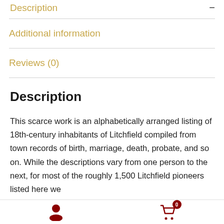Description
Additional information
Reviews (0)
Description
This scarce work is an alphabetically arranged listing of 18th-century inhabitants of Litchfield compiled from town records of birth, marriage, death, probate, and so on. While the descriptions vary from one person to the next, for most of the roughly 1,500 Litchfield pioneers listed here we